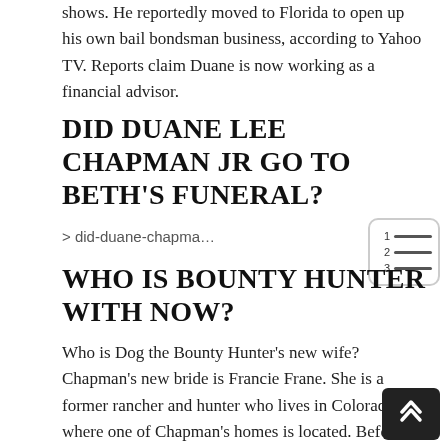shows. He reportedly moved to Florida to open up his own bail bondsman business, according to Yahoo TV. Reports claim Duane is now working as a financial advisor.
DID DUANE LEE CHAPMAN JR GO TO BETH'S FUNERAL?
> did-duane-chapma…
WHO IS BOUNTY HUNTER WITH NOW?
Who is Dog the Bounty Hunter's new wife? Chapman's new bride is Francie Frane. She is a former rancher and hunter who lives in Colorado, where one of Chapman's homes is located. Before meeting Chapman, she was married and had two sons of her own.